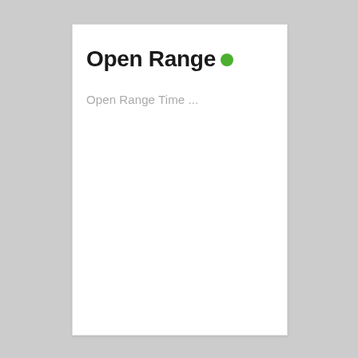Open Range •
Open Range Time ...